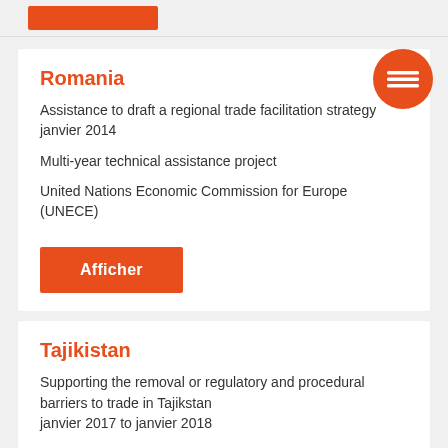Romania
Assistance to draft a regional trade facilitation strategy
janvier 2014
Multi-year technical assistance project
United Nations Economic Commission for Europe (UNECE)
Afficher
Tajikistan
Supporting the removal or regulatory and procedural barriers to trade in Tajikstan
janvier 2017 to janvier 2018